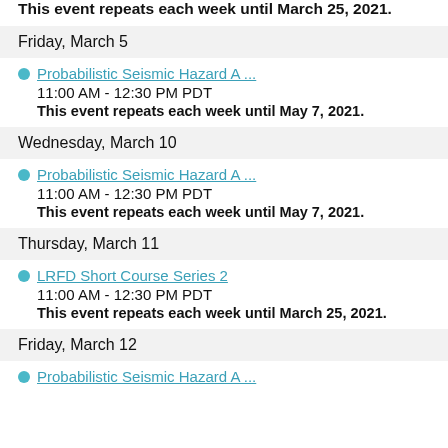This event repeats each week until March 25, 2021.
Friday, March 5
Probabilistic Seismic Hazard A ...
11:00 AM - 12:30 PM PDT
This event repeats each week until May 7, 2021.
Wednesday, March 10
Probabilistic Seismic Hazard A ...
11:00 AM - 12:30 PM PDT
This event repeats each week until May 7, 2021.
Thursday, March 11
LRFD Short Course Series 2
11:00 AM - 12:30 PM PDT
This event repeats each week until March 25, 2021.
Friday, March 12
Probabilistic Seismic Hazard A ...